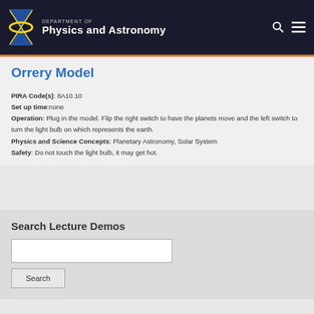Department of Physics and Astronomy
Orrery Model
PIRA Code(s): 8A10.10
Set up time: none
Operation: Plug in the model. Flip the right switch to have the planets move and the left switch to turn the light bulb on which represents the earth.
Physics and Science Concepts: Planetary Astronomy, Solar System
Safety: Do not touch the light bulb, it may get hot.
Search Lecture Demos